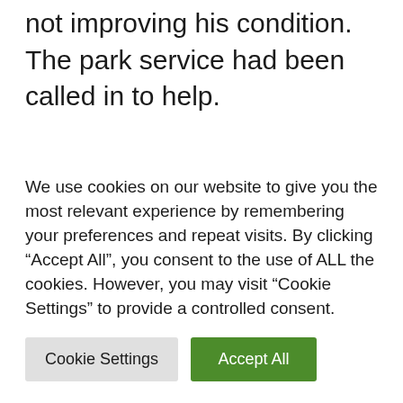not improving his condition. The park service had been called in to help.
It did not take long for Supervisory Park Ranger Kris Salapek to locate them on the trail on Mount Tammany. Without hesitation, he lifted the ailing dog over his shoulders and began the journey down.
We use cookies on our website to give you the most relevant experience by remembering your preferences and repeat visits. By clicking “Accept All”, you consent to the use of ALL the cookies. However, you may visit “Cookie Settings” to provide a controlled consent.